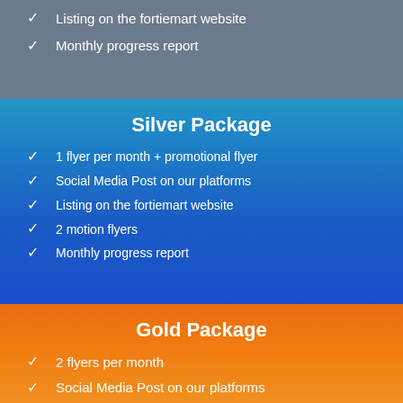Listing on the fortiemart website
Monthly progress report
Silver Package
1 flyer per month + promotional flyer
Social Media Post on our platforms
Listing on the fortiemart website
2 motion flyers
Monthly progress report
Gold Package
2 flyers per month
Social Media Post on our platforms
Listing on the fortiemart website